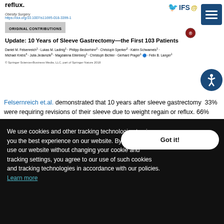reflux.
Obesity Surgery
https://doi.org/10.1007/s11695-018-3399-1
ORIGINAL CONTRIBUTIONS
Update: 10 Years of Sleeve Gastrectomy—the First 103 Patients
Daniel M. Felsenreich1 · Lukas M. Ladinig1 · Philipp Beckerhinn2 · Christoph Sperker2 · Katrin Schwameis1 · Michael Krebs4 · Julia Jedamzik3 · Magdalena Eilenberg1 · Christoph Bichler · Gerhard Prager1 · Felix B. Langer1
© Springer Science+Business Media, LLC, part of Springer Nature 2018
Felsernreich et.al. demonstrated that 10 years after sleeve gastrectomy 33% were requiring revisions of their sleeve due to weight regain or reflux. 66% nee...
We use cookies and other tracking technologies to give you the best experience on our website. By continuing to use our website without changing your cookie and tracking settings, you agree to our use of such cookies and tracking technologies in accordance with our policies. Learn more
Got it!